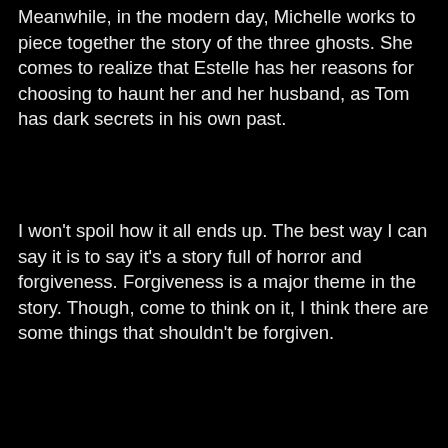Meanwhile, in the modern day, Michelle works to piece together the story of the three ghosts. She comes to realize that Estelle has her reasons for choosing to haunt her and her husband, as Tom has dark secrets in his own past.
I won't spoil how it all ends up. The best way I can say it is to say it's a story full of horror and forgiveness. Forgiveness is a major theme in the story. Though, come to think on it, I think there are some things that shouldn't be forgiven.